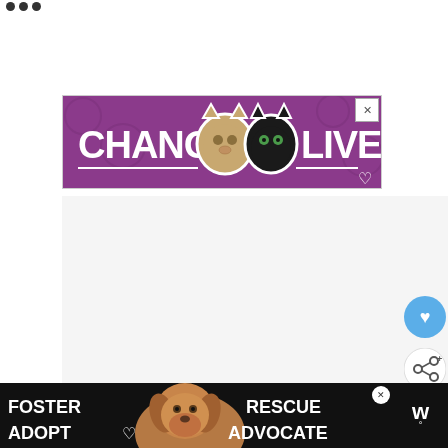• • •
[Figure (photo): Advertisement banner with purple background showing two cats (tabby and black cat) with text 'CHANGE LIVES' in white bold font and a heart icon. Close button (X) in top right corner.]
[Figure (infographic): Floating blue circle button with white heart icon (favorite/like button)]
[Figure (infographic): Floating white circle button with share icon]
[Figure (photo): WHAT'S NEXT card showing a thumbnail of green foliage/garden and text '9 Simple Steps to Trai...' with arrow]
[Figure (photo): Bottom advertisement banner on black background showing a beagle dog and text 'FOSTER ADOPT' on left and 'RESCUE ADVOCATE' on right in white. Close button (X). Website logo on right side showing 'W' with degree symbol.]